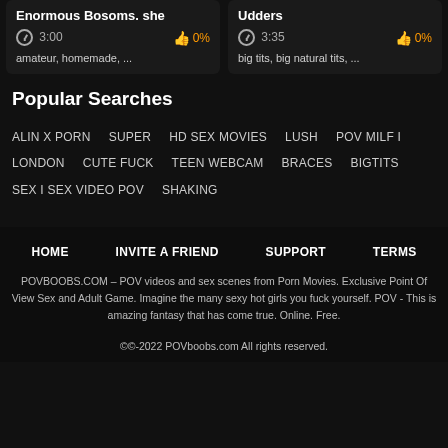Enormous Bosoms. she
Udders
3:00   0%
3:35   0%
amateur, homemade, ...
big tits, big natural tits, ...
Popular Searches
ALIN X PORN
SUPER
HD SEX MOVIES
LUSH
POV MILF I
LONDON
CUTE FUCK
TEEN WEBCAM
BRACES
BIGTITS
SEX I SEX VIDEO POV
SHAKING
HOME   INVITE A FRIEND   SUPPORT   TERMS
POVBOOBS.COM – POV videos and sex scenes from Porn Movies. Exclusive Point Of View Sex and Adult Game. Imagine the many sexy hot girls you fuck yourself. POV - This is amazing fantasy that has come true. Online. Free.
©©-2022 POVboobs.com All rights reserved.